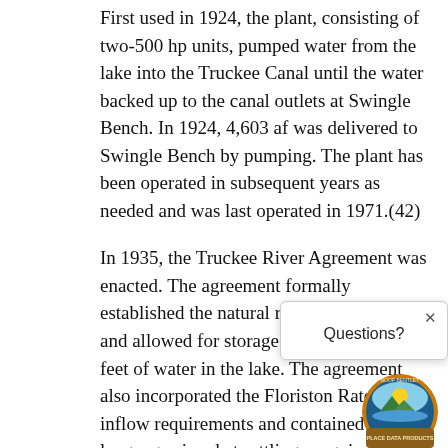First used in 1924, the plant, consisting of two-500 hp units, pumped water from the lake into the Truckee Canal until the water backed up to the canal outlets at Swingle Bench. In 1924, 4,603 af was delivered to Swingle Bench by pumping. The plant has been operated in subsequent years as needed and was last operated in 1971.(42)
In 1935, the Truckee River Agreement was enacted. The agreement formally established the natural rim of Lake Tahoe, and allowed for storage of just over six feet of water in the lake. The agreement also incorporated the Floriston Rates for inflow requirements and contained language aimed at settling on-going disputes over pumping of Lake Tahoe during periods of low water. In September 1944, a settlement in the 1913 adjudication suit was finally reached with the issuance of the
[Figure (other): A popup dialog with an 'x' close button and the text 'Questions?' overlaying the main document text, along with a circular logo badge for what appears to be a county or regional water authority.]